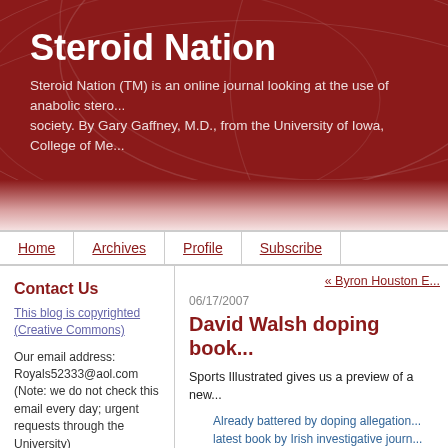Steroid Nation
Steroid Nation (TM) is an online journal looking at the use of anabolic stero... society. By Gary Gaffney, M.D., from the University of Iowa, College of Me...
Home | Archives | Profile | Subscribe
Contact Us
This blog is copyrighted (Creative Commons)
Our email address: Royals52333@aol.com (Note: we do not check this email every day; urgent requests through the University)
Vivid Seats
Vivid Seats Tickets
Check out ticket broker
« Byron Houston E...
06/17/2007
David Walsh doping book...
Sports Illustrated gives us a preview of a new...
Already battered by doping allegations... latest book by Irish investigative journ... Random House will release From Lan... Lance Armstrong, which contained all... English. This latest book will be wide... was a clean champion.
What does Armstrong say?